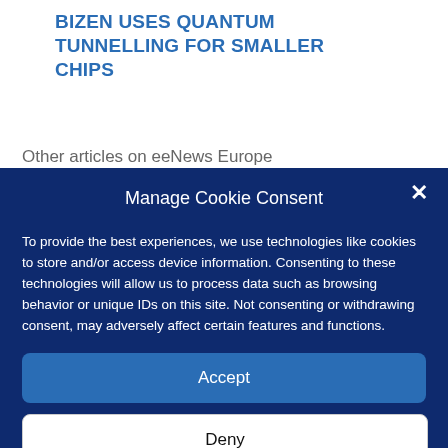BIZEN USES QUANTUM TUNNELLING FOR SMALLER CHIPS
Other articles on eeNews Europe
Manage Cookie Consent
To provide the best experiences, we use technologies like cookies to store and/or access device information. Consenting to these technologies will allow us to process data such as browsing behavior or unique IDs on this site. Not consenting or withdrawing consent, may adversely affect certain features and functions.
Accept
Deny
View preferences
Privacy Statement